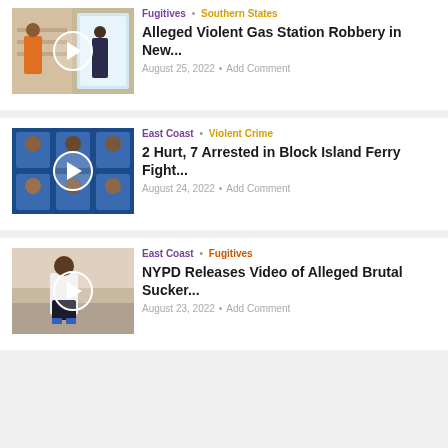[Figure (screenshot): Video thumbnail showing gas station robbery surveillance footage]
Fugitives · Southern States
Alleged Violent Gas Station Robbery in New...
August 25, 2022 · Add Comment
[Figure (screenshot): Video thumbnail showing mugshots of arrested individuals on blue background]
East Coast · Violent Crime
2 Hurt, 7 Arrested in Block Island Ferry Fight...
August 24, 2022 · Add Comment
[Figure (screenshot): Video thumbnail showing suspect from NYPD surveillance video]
East Coast · Fugitives
NYPD Releases Video of Alleged Brutal Sucker...
August 23, 2022 · Add Comment